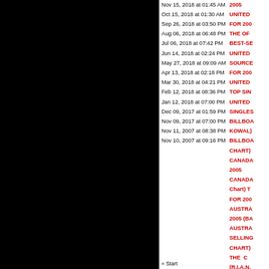[Figure (other): Black panel covering left ~59% of the page]
Nov 15, 2018 at 01:45 AM
Oct 15, 2018 at 01:30 AM
Sep 26, 2018 at 03:50 PM
Aug 06, 2018 at 06:48 PM
Jul 06, 2018 at 07:42 PM
Jun 14, 2018 at 02:24 PM
May 27, 2018 at 09:09 AM
Apr 13, 2018 at 02:18 PM
Mar 30, 2018 at 04:21 PM
Feb 12, 2018 at 08:36 PM
Jan 12, 2018 at 07:00 PM
Dec 09, 2017 at 01:59 PM
Nov 09, 2017 at 07:00 PM
Nov 11, 2007 at 08:38 PM
Nov 10, 2007 at 09:16 PM
2005 UNITED FOR 200 THE OF BEST-SE UNITED SOURCE FOR 200 UNITED TOP SIN UNITED SINGLES BILLBOA KOWAL) BILLBOA CHART) CANADA 2005 CANADA Chart) T FOR 200 AUSTRA 2005 (BA AUSTRA SELLING CHART) THE C (R.I.A.N. TOP ALB THE C (R.I.A.N. ALBUMS UNITED 2005 (BA UNITED COMPAN
« Start